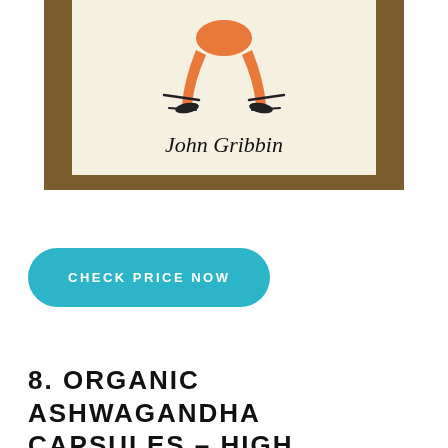[Figure (illustration): Partial book cover showing an illustrated figure in orange pants bending over, with the author name 'John Gribbin' written in cursive/handwritten style on a cream/beige background with brown border edges.]
CHECK PRICE NOW
8. ORGANIC ASHWAGANDHA CAPSULES – HIGH POTENCY 1300 MG: ULTIMATE NATURAL SLEEP SUPPORT, IMMUNE